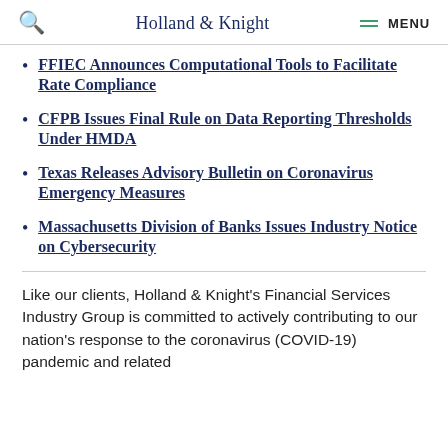Holland & Knight  MENU
FFIEC Announces Computational Tools to Facilitate Rate Compliance
CFPB Issues Final Rule on Data Reporting Thresholds Under HMDA
Texas Releases Advisory Bulletin on Coronavirus Emergency Measures
Massachusetts Division of Banks Issues Industry Notice on Cybersecurity
Like our clients, Holland & Knight's Financial Services Industry Group is committed to actively contributing to our nation's response to the coronavirus (COVID-19) pandemic and related